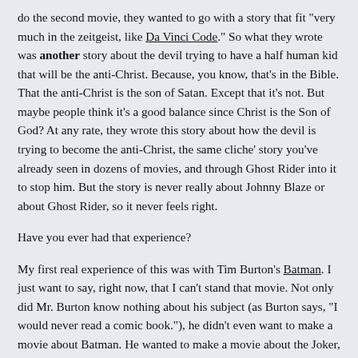do the second movie, they wanted to go with a story that fit "very much in the zeitgeist, like Da Vinci Code." So what they wrote was another story about the devil trying to have a half human kid that will be the anti-Christ. Because, you know, that's in the Bible. That the anti-Christ is the son of Satan. Except that it's not. But maybe people think it's a good balance since Christ is the Son of God? At any rate, they wrote this story about how the devil is trying to become the anti-Christ, the same cliche' story you've already seen in dozens of movies, and through Ghost Rider into it to stop him. But the story is never really about Johnny Blaze or about Ghost Rider, so it never feels right.
Have you ever had that experience?
My first real experience of this was with Tim Burton's Batman. I just want to say, right now, that I can't stand that movie. Not only did Mr. Burton know nothing about his subject (as Burton says, "I would never read a comic book."), he didn't even want to make a movie about Batman. He wanted to make a movie about the Joker, so the movie just never felt right to me. Sure, it had Batman in it, but it wasn't really Batman's story, and it just didn't work for me.